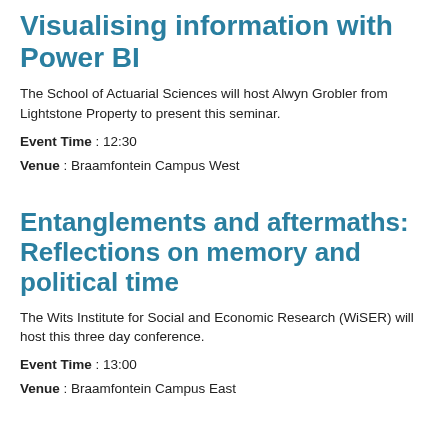Visualising information with Power BI
The School of Actuarial Sciences will host Alwyn Grobler from Lightstone Property to present this seminar.
Event Time : 12:30
Venue : Braamfontein Campus West
Entanglements and aftermaths: Reflections on memory and political time
The Wits Institute for Social and Economic Research (WiSER) will host this three day conference.
Event Time : 13:00
Venue : Braamfontein Campus East